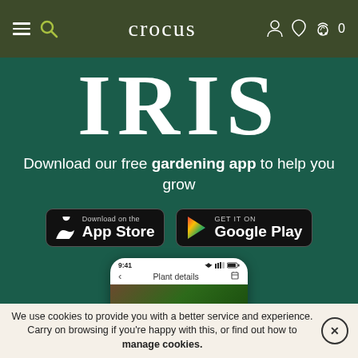crocus — navigation header with hamburger menu, search, user, wishlist, cart (0)
IRIS
Download our free gardening app to help you grow
[Figure (screenshot): App Store download button (black, rounded) and Google Play download button (black, rounded) side by side]
[Figure (screenshot): Phone mockup showing the Iris gardening app with 'Plant details' screen header, time 9:41]
We use cookies to provide you with a better service and experience. Carry on browsing if you're happy with this, or find out how to manage cookies.